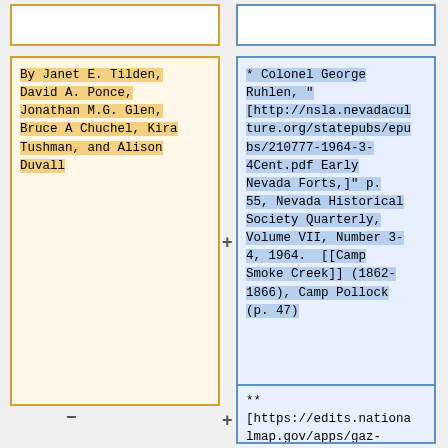By Janet E. Tilden, David A. Ponce, Jonathan M.G. Glen, Bruce A Chuchel, Kira Tushman, and Alison Duvall
* Colonel George Ruhlen, "[http://nsla.nevadaculture.org/statepubs/epubs/210777-1964-3-4Cent.pdf Early Nevada Forts,]" p. 55, Nevada Historical Society Quarterly, Volume VII, Number 3-4, 1964.  [[Camp Smoke Creek]] (1862-1866), Camp Pollock (p. 47)
** [https://edits.nationalmap.gov/apps/gaz-domestic/public/summary/858594 GNIS] Camp